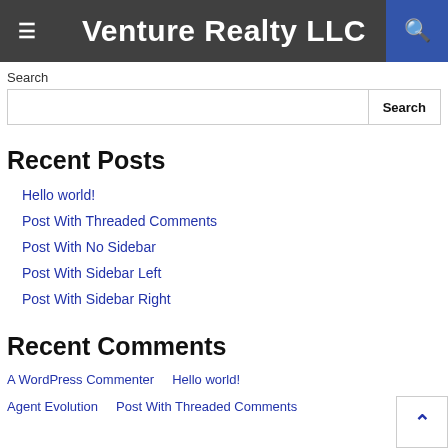Venture Realty LLC
Search
Recent Posts
Hello world!
Post With Threaded Comments
Post With No Sidebar
Post With Sidebar Left
Post With Sidebar Right
Recent Comments
A WordPress Commenter   Hello world!
Agent Evolution   Post With Threaded Comments